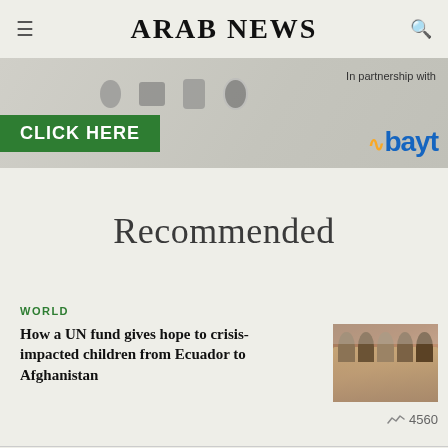ARAB NEWS
[Figure (screenshot): Advertisement banner with 'CLICK HERE' green button on left, 'In partnership with' text and Bayt logo on right, gray background with decorative icons]
Recommended
WORLD
How a UN fund gives hope to crisis-impacted children from Ecuador to Afghanistan
[Figure (photo): Group photo of women and girls wearing headscarves, likely in a classroom or gathering setting]
4560